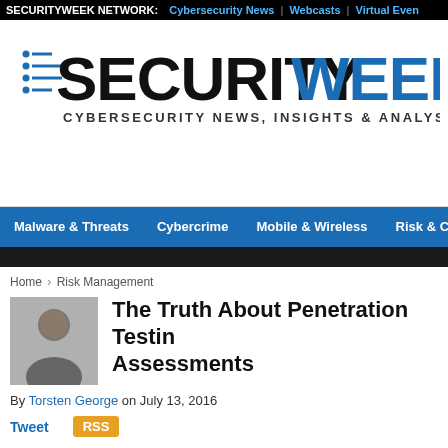SECURITYWEEK NETWORK: Cybersecurity News | Webcasts | Virtual Even
[Figure (logo): SecurityWeek logo with blue and black stylized text and speed-lines icon. Subtitle: CYBERSECURITY NEWS, INSIGHTS & ANALYSIS]
Malware & Threats | Cybercrime | Mobile & Wireless | Risk & Complia
Home › Risk Management
The Truth About Penetration Testing Assessments
By Torsten George on July 13, 2016
Tweet    RSS